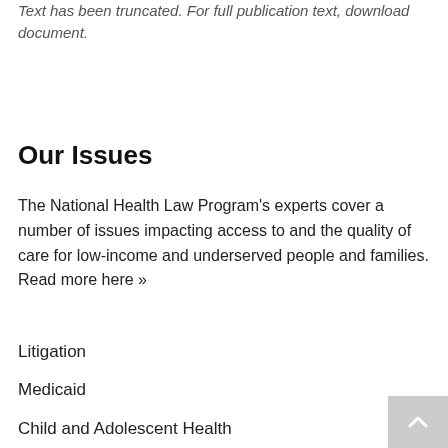Text has been truncated. For full publication text, download document.
Our Issues
The National Health Law Program's experts cover a number of issues impacting access to and the quality of care for low-income and underserved people and families. Read more here »
Litigation
Medicaid
Child and Adolescent Health
Disability Rights